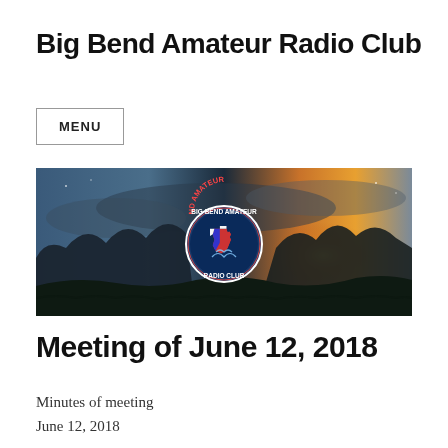Big Bend Amateur Radio Club
[Figure (other): Menu button with border]
[Figure (photo): Banner image showing a dramatic sunset over mountains with the Big Bend Amateur Radio Club logo/seal in the center. The logo shows a Texas state silhouette with radio club text around it.]
Meeting of June 12, 2018
Minutes of meeting
June 12, 2018